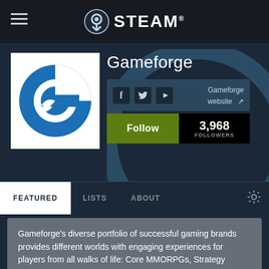STEAM®
[Figure (logo): Gameforge logo — blue circle forming a stylized letter G with a white bird/wave shape inside]
Gameforge
Gameforge website
Follow  3,968 FOLLOWERS
FEATURED   LISTS   ABOUT
Gameforge's diverse portfolio of successful gaming brands provides different worlds with engaging experiences for players from all walks of life: Core MMORPGs, Strategy Browser Games along with Indie Titles